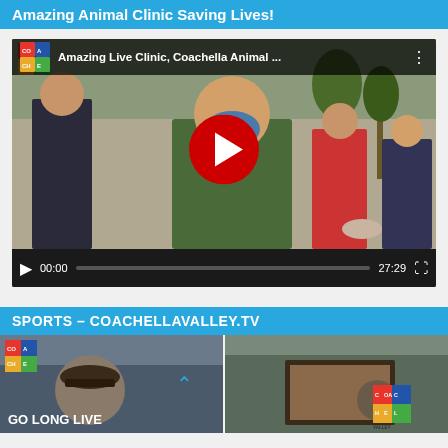Amazing Animal Clinic Saving Lives!
[Figure (screenshot): Embedded YouTube video player showing 'Amazing Live Clinic, Coachella Animal...' with a child wearing a blue face mask in foreground and people with a dog in background. Video controls show 00:00 / 27:29.]
SPORTS – COACHELLAVALLEY.TV
[Figure (screenshot): Two video thumbnails side by side. Left: 'GO LONG LIVE' with Coachella logo and a person in a hat. Right: another video thumbnail with Coachella Valley logo.]